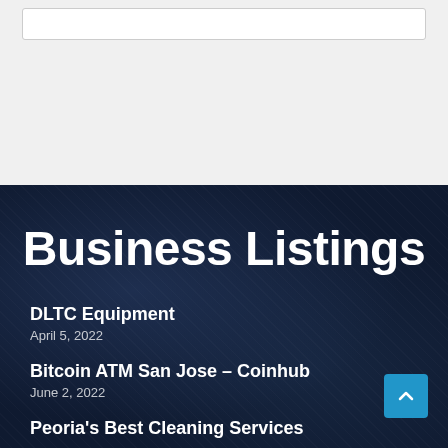[Figure (screenshot): Top white/light grey section with a search box outline at top]
Business Listings
DLTC Equipment
April 5, 2022
Bitcoin ATM San Jose – Coinhub
June 2, 2022
Peoria's Best Cleaning Services